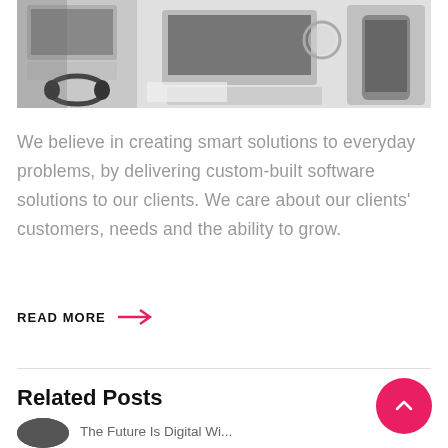[Figure (photo): Overhead view of a desk workspace with laptops, headphones, and a person holding a smartphone]
We believe in creating smart solutions to everyday problems, by delivering custom-built software solutions to our clients. We care about our clients' customers, needs and the ability to grow.
READ MORE →
Related Posts
The Future Is Digital Wi...